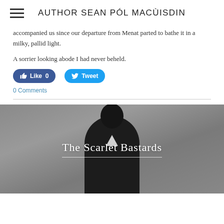AUTHOR SEAN PÓL MACÙISDIN
accompanied us since our departure from Menat parted to bathe it in a milky, pallid light.
A sorrier looking abode I had never beheld.
[Figure (screenshot): Social media buttons: Like 0 (Facebook blue) and Tweet (Twitter blue)]
0 Comments
[Figure (photo): Book cover image for 'The Scarlet Bastards' showing a person in dark clothing against a gray background, with the title text overlaid in white serif font with a decorative line beneath]